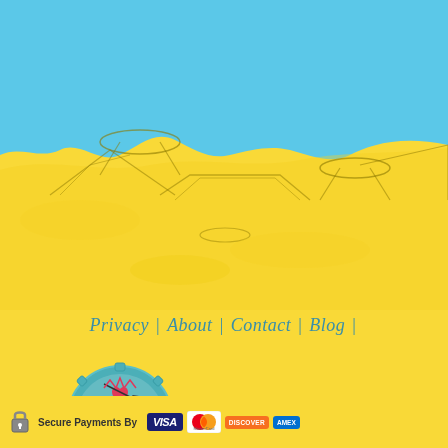[Figure (illustration): Illustrated desert/sandy landscape scene with blue sky at top and yellow sand dunes with crater-like holes, drawn in a sketchy watercolor style]
Privacy | About | Contact | Blog |
[Figure (logo): Hulafrog's Most Loved toys & books store 2017 badge - circular teal badge with pink ribbon and heart]
[Figure (logo): Secure Payments By section with padlock icon and payment logos: VISA, MasterCard, DISCOVER, American Express]